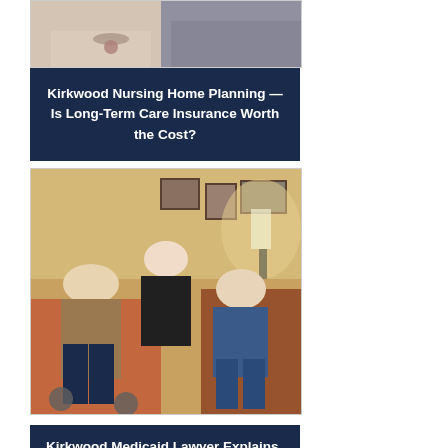[Figure (photo): Close-up photo of an elderly person wearing a necklace with a heart pendant, in a white or cream top, with another person in grey clothing beside them.]
Kirkwood Nursing Home Planning — Is Long-Term Care Insurance Worth the Cost?
[Figure (photo): Photo of three people — an elderly man in a wheelchair wearing brown, a middle-aged woman in black standing behind, and an elderly woman in a blue top seated on a brown leather chair — in a warmly lit room with framed photos on the wall.]
Kirkwood Medicaid Lawyer Explains